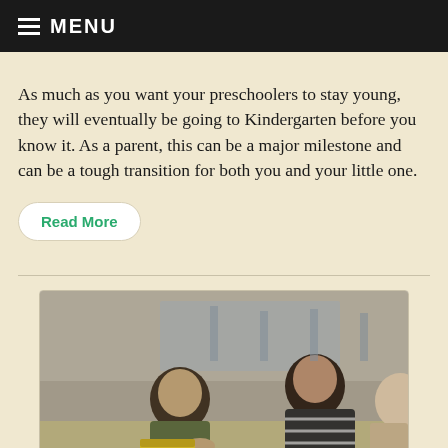≡ MENU
As much as you want your preschoolers to stay young, they will eventually be going to Kindergarten before you know it. As a parent, this can be a major milestone and can be a tough transition for both you and your little one.
Read More
[Figure (photo): Children sitting at classroom desks, writing or working, in an elementary school classroom setting.]